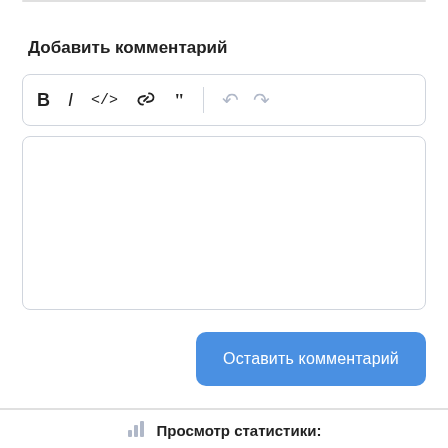Добавить комментарий
[Figure (screenshot): Comment editor toolbar with formatting icons: Bold (B), Italic (I), Code (</>), Link (chain icon), Quote (“”), and undo/redo arrows (greyed out)]
[Figure (screenshot): Empty text area for comment input]
Оставить комментарий
Просмотр статистики:
За последние 24часов:  2